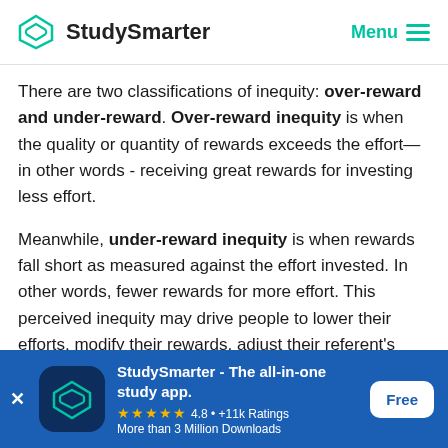StudySmarter   Menu
There are two classifications of inequity: over-reward and under-reward. Over-reward inequity is when the quality or quantity of rewards exceeds the effort—in other words - receiving great rewards for investing less effort.
Meanwhile, under-reward inequity is when rewards fall short as measured against the effort invested. In other words, fewer rewards for more effort. This perceived inequity may drive people to lower their efforts, modify their rewards, adjust their referent's behavior or results,
[Figure (other): StudySmarter app advertisement banner with logo, star rating 4.8, +11k Ratings, More than 3 Million Downloads, and Free button]